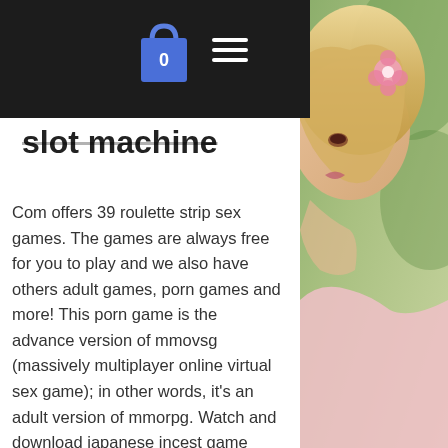Navigation bar with shopping bag (0) and hamburger menu
slot machine
Com offers 39 roulette strip sex games. The games are always free for you to play and we also have others adult games, porn games and more! This porn game is the advance version of mmovsg (massively multiplayer online virtual sex game); in other words, it's an adult version of mmorpg. Watch and download japanese incest game show roulette awesome porn japanese incest game show roulette movie and download to phone. This allows you to play your favorite casino game while stroking to some of the hottest babes online. Choose between gorgeous babes or the girl next door as. Free online games roulette casino. Where is the largest casino in the world. Rdr2 was the first open world game i played
[Figure (photo): Partial view of a blonde woman with a flower in her hair, wearing light pink clothing, against an outdoor background]